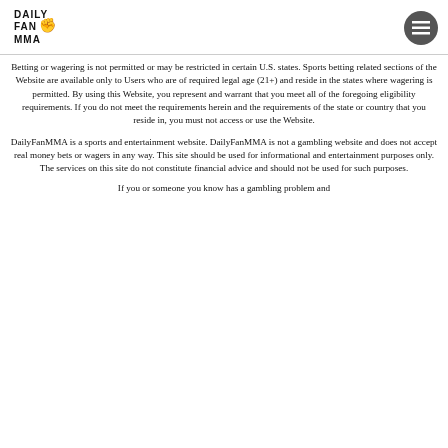[Figure (logo): Daily Fan MMA logo with stylized text and fist graphic]
Betting or wagering is not permitted or may be restricted in certain U.S. states. Sports betting related sections of the Website are available only to Users who are of required legal age (21+) and reside in the states where wagering is permitted. By using this Website, you represent and warrant that you meet all of the foregoing eligibility requirements. If you do not meet the requirements herein and the requirements of the state or country that you reside in, you must not access or use the Website.
DailyFanMMA is a sports and entertainment website. DailyFanMMA is not a gambling website and does not accept real money bets or wagers in any way. This site should be used for informational and entertainment purposes only. The services on this site do not constitute financial advice and should not be used for such purposes.
If you or someone you know has a gambling problem and